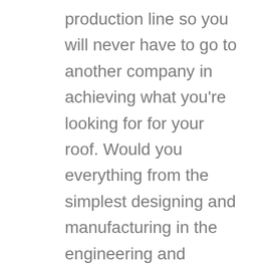production line so you will never have to go to another company in achieving what you're looking for for your roof. Would you everything from the simplest designing and manufacturing in the engineering and installation part of the production line.
You should definitely contact us at 405-359-6111 to let us know what can the services that you're looking for. We have all the answers ready for you once you're ready. Please feel free to go to our website at